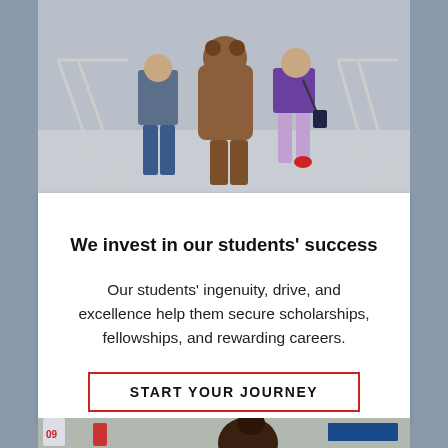[Figure (photo): Students and mascot walking down steps outside]
We invest in our students' success
Our students' ingenuity, drive, and excellence help them secure scholarships, fellowships, and rewarding careers.
START YOUR JOURNEY
[Figure (photo): Student in a laboratory or classroom setting]